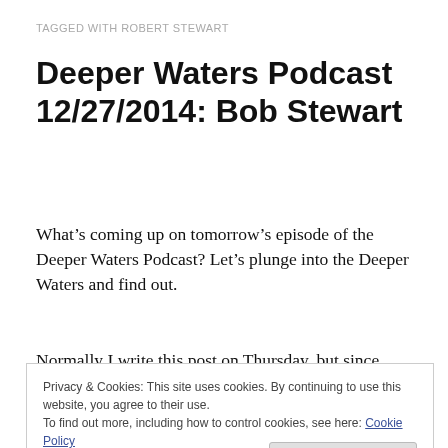TAGGED WITH ROBERT STEWART
Deeper Waters Podcast 12/27/2014: Bob Stewart
What’s coming up on tomorrow’s episode of the Deeper Waters Podcast? Let’s plunge into the Deeper Waters and find out.
Normally I write this post on Thursday, but since yesterday was Christmas, I decided to write about that instead. Now
Privacy & Cookies: This site uses cookies. By continuing to use this website, you agree to their use.
To find out more, including how to control cookies, see here: Cookie Policy
conference. It’s held every year in New Orleans. This year